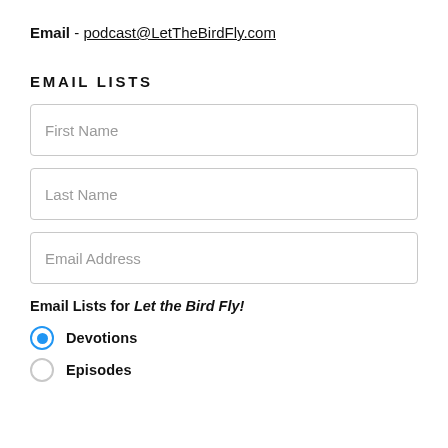Email - podcast@LetTheBirdFly.com
EMAIL LISTS
First Name
Last Name
Email Address
Email Lists for Let the Bird Fly!
Devotions (selected)
Episodes